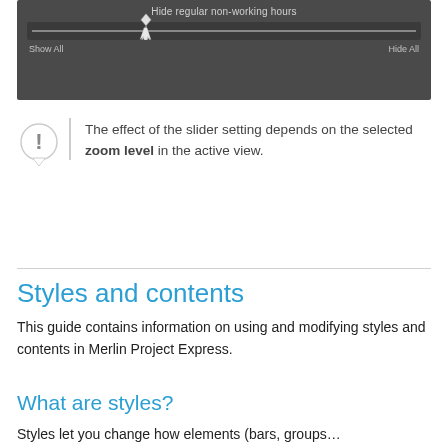[Figure (screenshot): Dark UI panel showing a slider control labeled 'Hide regular non-working hours' with Show All on the left, Hide All on the right, and a mouse cursor positioned on the slider track.]
The effect of the slider setting depends on the selected zoom level in the active view.
Styles and contents
This guide contains information on using and modifying styles and contents in Merlin Project Express.
What are styles?
Styles let you change how elements (bars, groups…